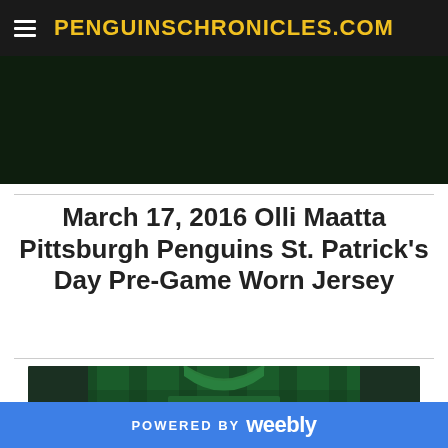PENGUINSCHRONICLES.COM
[Figure (photo): Dark background hero image area, appears to show a dark green jersey or background]
March 17, 2016 Olli Maatta Pittsburgh Penguins St. Patrick's Day Pre-Game Worn Jersey
[Figure (photo): Photo of a green Reebok Penguins St. Patrick's Day jersey showing the Reebok logo and MAATTA nameplate]
POWERED BY weebly